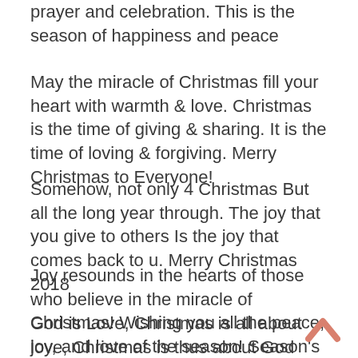prayer and celebration. This is the season of happiness and peace
May the miracle of Christmas fill your heart with warmth & love. Christmas is the time of giving & sharing. It is the time of loving & forgiving. Merry Christmas to Everyone!
Somehow, not only 4 Christmas But all the long year through. The joy that you give to others Is the joy that comes back to u. Merry Christmas 2018
Joy resounds in the hearts of those who believe in the miracle of Christmas! Wishing you all the peace, joy, and love of the season! Season's Greetings!
God is Love, Christmas is all about love, Christmas is thus about God and Love, Love is the key to peace among all mankind, Love is the key to peace and happiness within all creation. Love needs to be